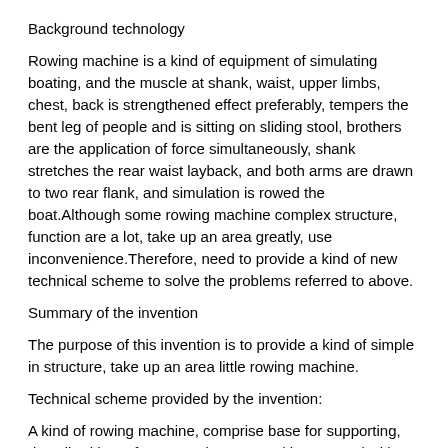Background technology
Rowing machine is a kind of equipment of simulating boating, and the muscle at shank, waist, upper limbs, chest, back is strengthened effect preferably, tempers the bent leg of people and is sitting on sliding stool, brothers are the application of force simultaneously, shank stretches the rear waist layback, and both arms are drawn to two rear flank, and simulation is rowed the boat.Although some rowing machine complex structure, function are a lot, take up an area greatly, use inconvenience.Therefore, need to provide a kind of new technical scheme to solve the problems referred to above.
Summary of the invention
The purpose of this invention is to provide a kind of simple in structure, take up an area little rowing machine.
Technical scheme provided by the invention:
A kind of rowing machine, comprise base for supporting, described base for supporting rear end is arranged with movable support rod, described movable support rod lower end is for base for supporting, and the lower end is hinged...